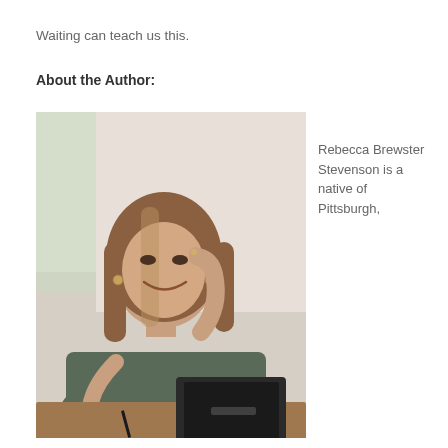Waiting can teach us this.
About the Author:
[Figure (photo): Author Rebecca Brewster Stevenson seated at a desk with a laptop, hand raised to her temple, smiling at camera.]
Rebecca Brewster Stevenson is a native of Pittsburgh,